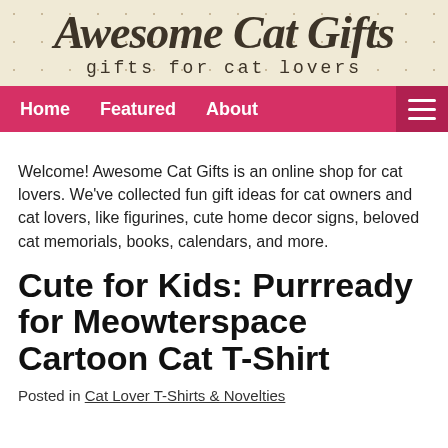[Figure (logo): Awesome Cat Gifts website header banner with cursive title and subtitle on a tan/cream patterned background]
Home   Featured   About
Welcome! Awesome Cat Gifts is an online shop for cat lovers. We've collected fun gift ideas for cat owners and cat lovers, like figurines, cute home decor signs, beloved cat memorials, books, calendars, and more.
Cute for Kids: Purrready for Meowterspace Cartoon Cat T-Shirt
Posted in Cat Lover T-Shirts & Novelties